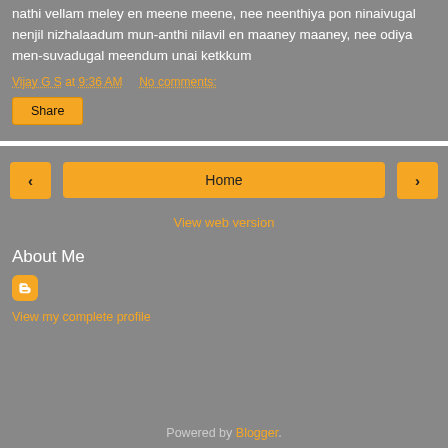nathi vellam meley en meene meene, nee neenthiya pon ninaivugal nenjil nizhalaadum mun-anthi nilavil en maaney maaney, nee odiya men-suvadugal meendum unai ketkkum
Vijay G S at 9:36 AM   No comments:
Share
‹  Home  ›
View web version
About Me
View my complete profile
Powered by Blogger.